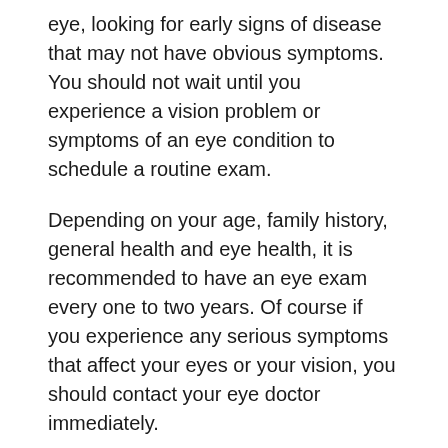eye, looking for early signs of disease that may not have obvious symptoms. You should not wait until you experience a vision problem or symptoms of an eye condition to schedule a routine exam.
Depending on your age, family history, general health and eye health, it is recommended to have an eye exam every one to two years. Of course if you experience any serious symptoms that affect your eyes or your vision, you should contact your eye doctor immediately.
The Difference Between an Optometrist (OD) and an Ophthalmologist (MD or DO)
Confusion about the difference between optometrists and ophthalmologists is common, and many people